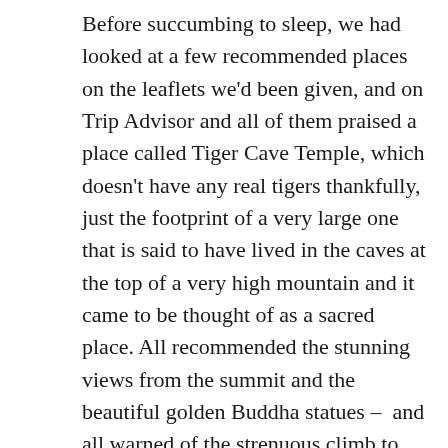Before succumbing to sleep, we had looked at a few recommended places on the leaflets we'd been given, and on Trip Advisor and all of them praised a place called Tiger Cave Temple, which doesn't have any real tigers thankfully, just the footprint of a very large one that is said to have lived in the caves at the top of a very high mountain and it came to be thought of as a sacred place. All recommended the stunning views from the summit and the beautiful golden Buddha statues – and all warned of the strenuous climb to reach them. There are 1,237 steps to the top but they are very high steps apparently and the monkeys there can be vicious according to one lady on Trip Advisor whose review stated that she saw: